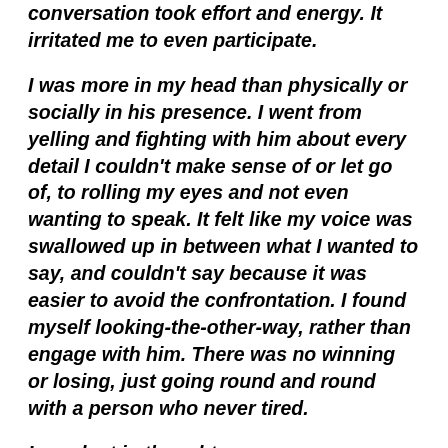conversation took effort and energy. It irritated me to even participate.
I was more in my head than physically or socially in his presence. I went from yelling and fighting with him about every detail I couldn't make sense of or let go of, to rolling my eyes and not even wanting to speak. It felt like my voice was swallowed up in between what I wanted to say, and couldn't say because it was easier to avoid the confrontation. I found myself looking-the-other-way, rather than engage with him. There was no winning or losing, just going round and round with a person who never tired.
I was lost in thought.
I couldn't follow a conversation, or recall details. I became withdrawn and overwhelmed at the slightest